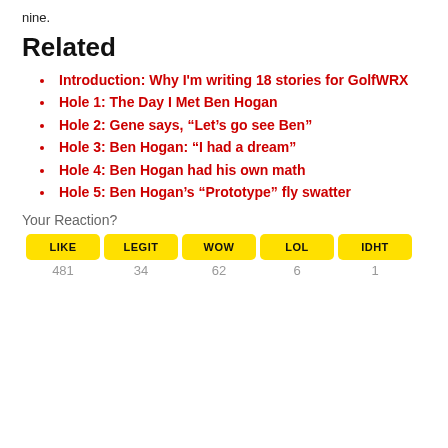nine.
Related
Introduction: Why I'm writing 18 stories for GolfWRX
Hole 1: The Day I Met Ben Hogan
Hole 2: Gene says, “Let’s go see Ben”
Hole 3: Ben Hogan: “I had a dream”
Hole 4: Ben Hogan had his own math
Hole 5: Ben Hogan’s “Prototype” fly swatter
Your Reaction?
| LIKE | LEGIT | WOW | LOL | IDHT |
| --- | --- | --- | --- | --- |
| 481 | 34 | 62 | 6 | 1 |